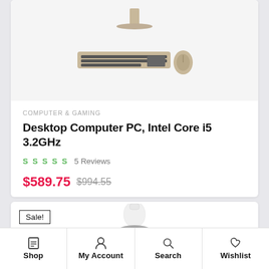[Figure (photo): Desktop PC with monitor, keyboard and mouse on light grey background]
COMPUTER & GAMING
Desktop Computer PC, Intel Core i5 3.2GHz
S S S S S   5 Reviews
$589.75  $994.55
Sale!
[Figure (photo): Partial view of a second product (white bottle/container with black base)]
Shop  My Account  Search  Wishlist